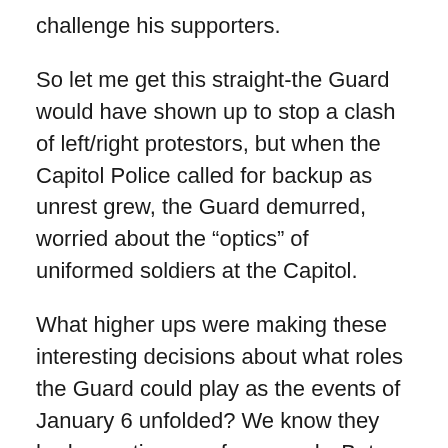challenge his supporters.
So let me get this straight-the Guard would have shown up to stop a clash of left/right protestors, but when the Capitol Police called for backup as unrest grew, the Guard demurred, worried about the “optics” of uniformed soldiers at the Capitol.
What higher ups were making these interesting decisions about what roles the Guard could play as the events of January 6 unfolded? We know they had a contingency force ready. But who and what they went to defend seemed to be a case of pick and choose. This can only mean that someone, perhaps several people in the Army/National Guard chain of command chose not to do his duty, or just plain fucked up. Colonel Earl Matthews alleges that Charles Flynn and Walter Piatt told William